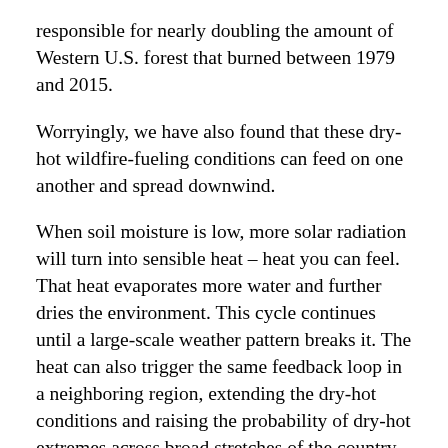responsible for nearly doubling the amount of Western U.S. forest that burned between 1979 and 2015.
Worryingly, we have also found that these dry-hot wildfire-fueling conditions can feed on one another and spread downwind.
When soil moisture is low, more solar radiation will turn into sensible heat – heat you can feel. That heat evaporates more water and further dries the environment. This cycle continues until a large-scale weather pattern breaks it. The heat can also trigger the same feedback loop in a neighboring region, extending the dry-hot conditions and raising the probability of dry-hot extremes across broad stretches of the country.
All of this translates into higher wildfire risk for the Western U.S.